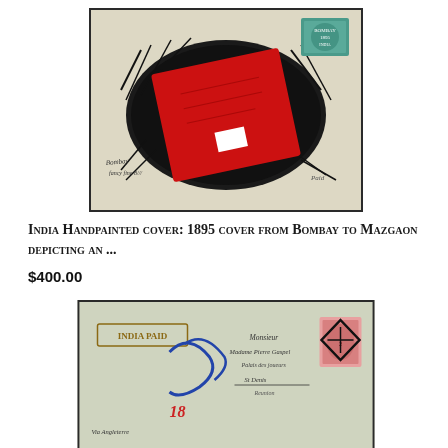[Figure (photo): A hand-painted envelope cover from 1895, showing a red decorative label/card surrounded by dense black ink hatching/drawing, with a blue-green postage stamp in the upper right corner and handwritten addresses. The envelope has black ink artistic decoration.]
India Handpainted cover: 1895 cover from Bombay to Mazgaon depicting an ...
$400.00
[Figure (photo): An old postal cover/letter with 'INDIA PAID' handstamp in brown/gold, handwritten addresses in ink (cursive), a pink/red postage stamp with black cancellation mark on the right side, and additional handwritten notations. The cover appears cream/light blue in color.]